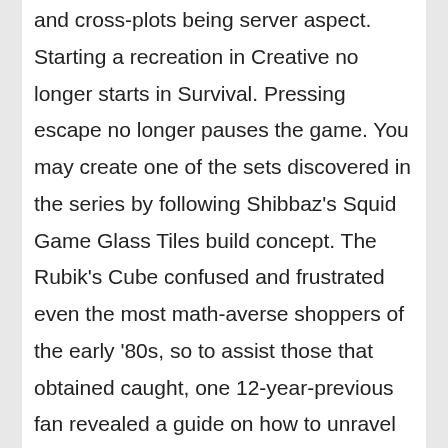and cross-plots being server aspect. Starting a recreation in Creative no longer starts in Survival. Pressing escape no longer pauses the game. You may create one of the sets discovered in the series by following Shibbaz's Squid Game Glass Tiles build concept. The Rubik's Cube confused and frustrated even the most math-averse shoppers of the early '80s, so to assist those that obtained caught, one 12-year-previous fan revealed a guide on how to unravel the cube that offered over 1.5 million copies. The 1.9 update makes this even tougher, as some of the crystals now have iron bars surrounding them. Meanwhile, higher-degree fletchers present enchanted bows, enchanted crossbows, and even tipped arrows. For its